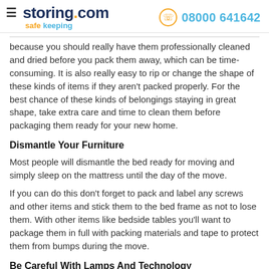storing.com safe keeping | 08000 641642
because you should really have them professionally cleaned and dried before you pack them away, which can be time-consuming. It is also really easy to rip or change the shape of these kinds of items if they aren't packed properly. For the best chance of these kinds of belongings staying in great shape, take extra care and time to clean them before packaging them ready for your new home.
Dismantle Your Furniture
Most people will dismantle the bed ready for moving and simply sleep on the mattress until the day of the move.
If you can do this don't forget to pack and label any screws and other items and stick them to the bed frame as not to lose them. With other items like bedside tables you'll want to package them in full with packing materials and tape to protect them from bumps during the move.
Be Careful With Lamps And Technology
When it comes to your lamps you will want to remove the bulbs and pack them really carefully. Then fully wrap the lamp so that you